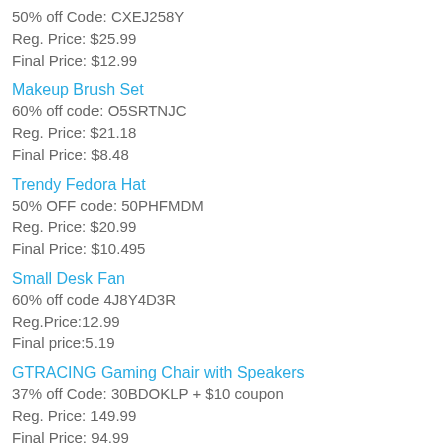50% off Code: CXEJ258Y
Reg. Price: $25.99
Final Price: $12.99
Makeup Brush Set
60% off code: O5SRTNJC
Reg. Price: $21.18
Final Price: $8.48
Trendy Fedora Hat
50% OFF code: 50PHFMDM
Reg. Price: $20.99
Final Price: $10.495
Small Desk Fan
60% off code±4J8Y4D3R
Reg.Price:12.99
Final price:5.19
GTRACING Gaming Chair with Speakers
37% off Code: 30BDOKLP + $10 coupon
Reg. Price: 149.99
Final Price: 94.99